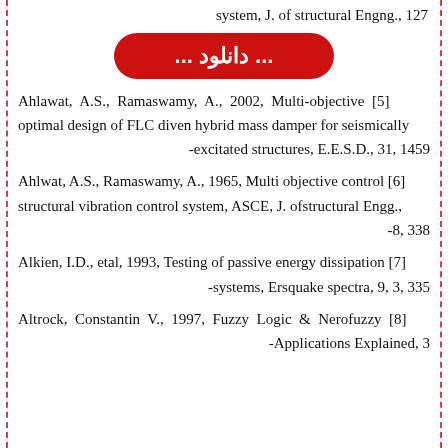system, J. of structural Engng., 127
[Figure (other): Red download button with Arabic text '... دانلود ...']
Ahlawat, A.S., Ramaswamy, A., 2002, Multi-objective [5] optimal design of FLC diven hybrid mass damper for seismically -excitated structures, E.E.S.D., 31, 1459
Ahlwat, A.S., Ramaswamy, A., 1965, Multi objective control [6] structural vibration control system, ASCE, J. ofstructural Engg., -8, 338
Alkien, I.D., etal, 1993, Testing of passive energy dissipation [7] -systems, Ersquake spectra, 9, 3, 335
Altrock, Constantin V., 1997, Fuzzy Logic & Nerofuzzy [8] -Applications Explained, 3